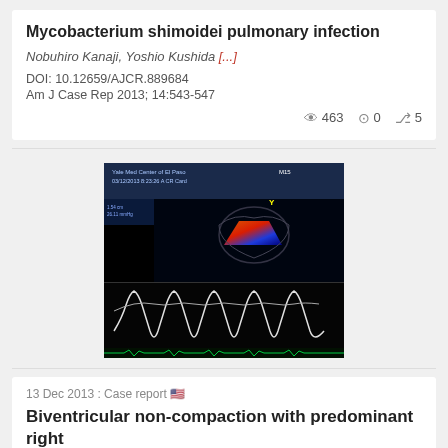Mycobacterium shimoidei pulmonary infection
Nobuhiro Kanaji, Yoshio Kushida [...]
DOI: 10.12659/AJCR.889684
Am J Case Rep 2013; 14:543-547
463 views  0 downloads  5 citations
[Figure (photo): Echocardiogram image showing an M-mode echocardiogram with a 2D cardiac ultrasound image in the upper portion showing color Doppler flow over the heart, and the lower portion showing M-mode tracing with multiple wave patterns on a black background. Text overlay at top reads 'Yale Med Center of El Paso' with date 03/12/2013.]
13 Dec 2013 : Case report 🇺🇸
Biventricular non-compaction with predominant right